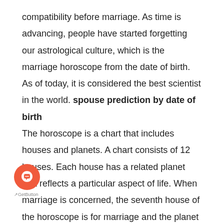compatibility before marriage. As time is advancing, people have started forgetting our astrological culture, which is the marriage horoscope from the date of birth. As of today, it is considered the best scientist in the world. spouse prediction by date of birth

The horoscope is a chart that includes houses and planets. A chart consists of 12 houses. Each house has a related planet that reflects a particular aspect of life. When marriage is concerned, the seventh house of the horoscope is for marriage and the planet Venus is suitable for this position. All these positions and places are according to the person's date of birth, time of birth, and the p[osition] of the planet during the place of birth. You will get to know more as you look at our marriage prediction as a free online